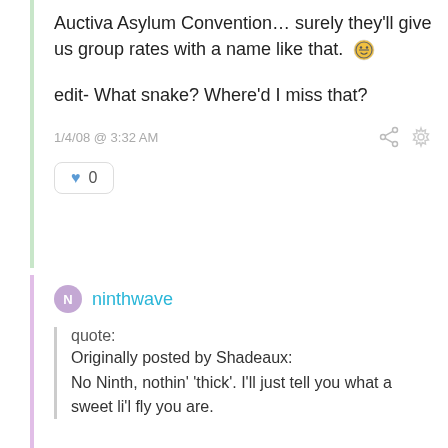Auctiva Asylum Convention… surely they'll give us group rates with a name like that. 😬
edit- What snake? Where'd I miss that?
1/4/08 @ 3:32 AM
♥ 0
ninthwave
quote:
Originally posted by Shadeaux:
No Ninth, nothin' 'thick'. I'll just tell you what a sweet li'l fly you are.